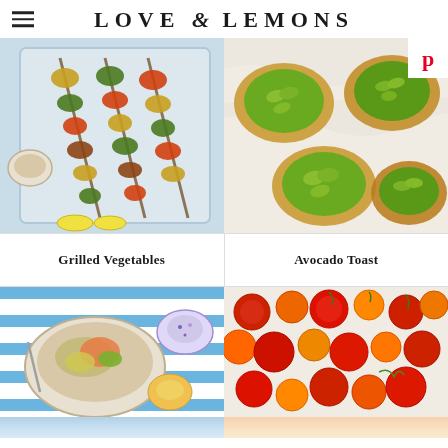LOVE & LEMONS
[Figure (photo): Grilled vegetable skewers on a tray with dipping sauce, overhead view]
[Figure (photo): Avocado toast variations on marble surface with Pinterest badge]
Grilled Vegetables
Avocado Toast
[Figure (photo): Grain bowl with vegetables on blue striped tablecloth]
[Figure (photo): Roasted colorful heirloom tomatoes overhead view]